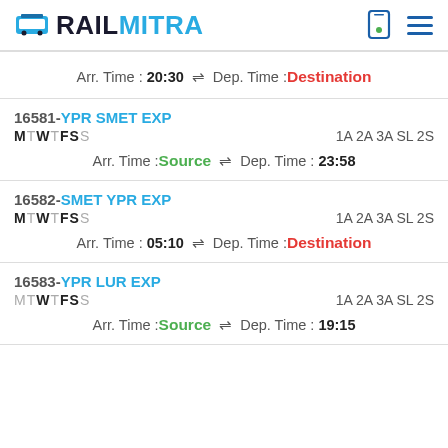RAILMITRA
Arr. Time : 20:30 ⇌ Dep. Time : Destination
16581-YPR SMET EXP MTWT FSS 1A 2A 3A SL 2S Arr. Time : Source ⇌ Dep. Time : 23:58
16582-SMET YPR EXP MTWT FSS 1A 2A 3A SL 2S Arr. Time : 05:10 ⇌ Dep. Time : Destination
16583-YPR LUR EXP MT WTFSS 1A 2A 3A SL 2S Arr. Time : Source ⇌ Dep. Time : 19:15